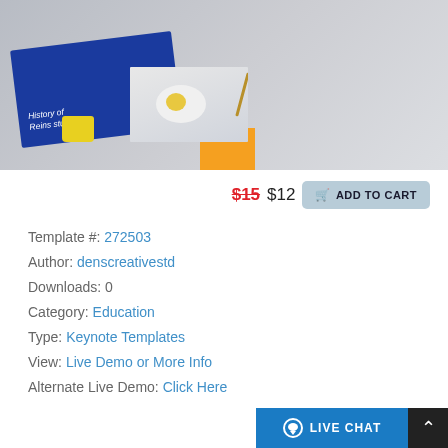[Figure (screenshot): Hero image showing a presentation template preview with a blue slide card showing 'History of Reins studio' text, a slide with a fried egg on a plate, a yellow coffee cup, and a DENS logo box. Right side shows 'ENDR' text and 'Business P' text partially visible.]
$15 $12 ADD TO CART
Template #: 272503
Author: denscreativestd
Downloads: 0
Category: Education
Type: Keynote Templates
View: Live Demo or More Info
Alternate Live Demo: Click Here
LIVE CHAT